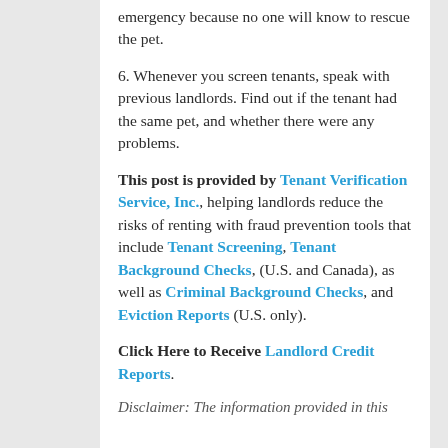emergency because no one will know to rescue the pet.
6. Whenever you screen tenants, speak with previous landlords. Find out if the tenant had the same pet, and whether there were any problems.
This post is provided by Tenant Verification Service, Inc., helping landlords reduce the risks of renting with fraud prevention tools that include Tenant Screening, Tenant Background Checks, (U.S. and Canada), as well as Criminal Background Checks, and Eviction Reports (U.S. only).
Click Here to Receive Landlord Credit Reports.
Disclaimer: The information provided in this